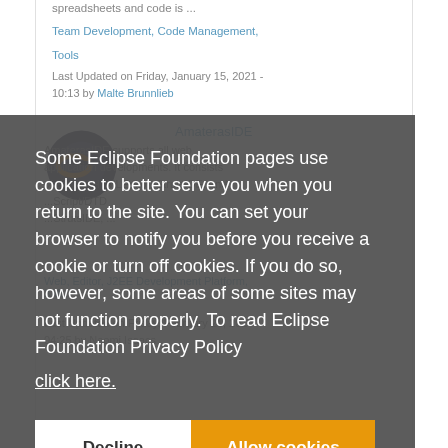spreadsheets and code is ...
Team Development, Code Management, Tools
Last Updated on Friday, January 15, 2021 - 10:13 by Malte Brunnlieb
AmaterasIDE
AmaterasIDE supports all web application developments. It consists of EclipseHTMLEditor, StrutsIDE, and ...Script/DTD ...StrutsIDE, ...
Web, Editor, J2EE Development Platform, XML
Last Updated on Friday, February 21, 2014 - 04:25 by Naomi Isaacs
Some Eclipse Foundation pages use cookies to better serve you when you return to the site. You can set your browser to notify you before you receive a cookie or turn off cookies. If you do so, however, some areas of some sites may not function properly. To read Eclipse Foundation Privacy Policy
click here.